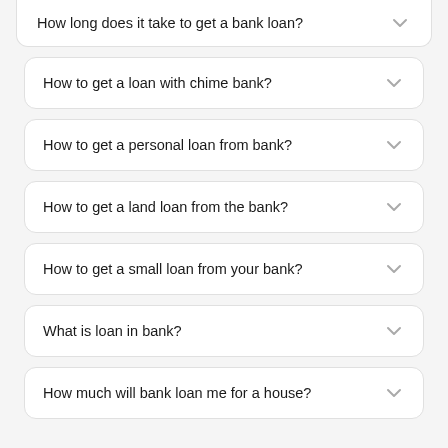How long does it take to get a bank loan?
How to get a loan with chime bank?
How to get a personal loan from bank?
How to get a land loan from the bank?
How to get a small loan from your bank?
What is loan in bank?
How much will bank loan me for a house?